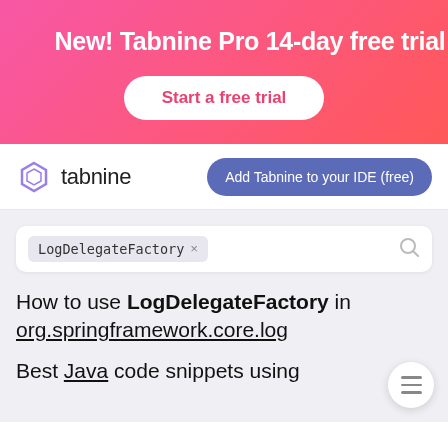[Figure (infographic): Pink-to-red gradient promotional banner with party popper icon, heading 'New! Tabnine Pro 14-day free trial', and a white 'Start a free trial' button]
tabnine | Add Tabnine to your IDE (free)
LogDelegateFactory ×
How to use LogDelegateFactory in org.springframework.core.log
Best Java code snippets using